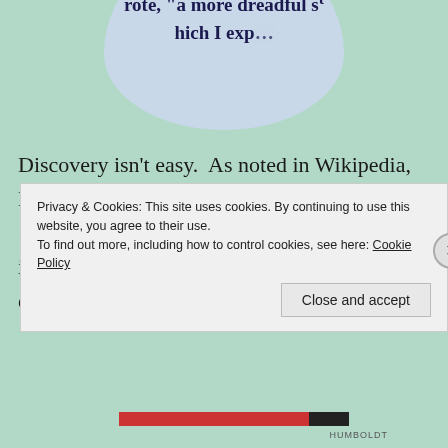[Figure (illustration): Circular cropped image with light blue background showing partial text: 'charge of a large Leyden j...rote, "a more dreadful s...hich I exp...']
Discovery isn't easy.  As noted in Wikipedia, Humboldt and his discoveries on his 1799-1804 tour in Latin America were a great influence on Charles Darwin.  The Wikipedia entry is very
Privacy & Cookies: This site uses cookies. By continuing to use this website, you agree to their use.
To find out more, including how to control cookies, see here: Cookie Policy